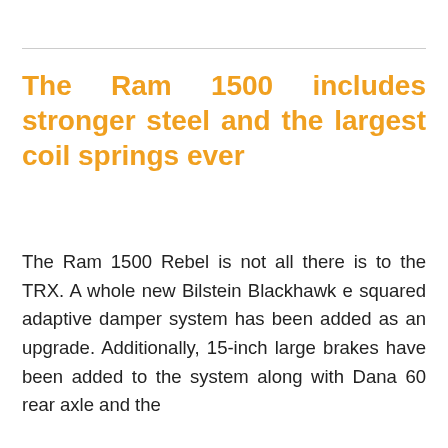The Ram 1500 includes stronger steel and the largest coil springs ever
The Ram 1500 Rebel is not all there is to the TRX. A whole new Bilstein Blackhawk e squared adaptive damper system has been added as an upgrade. Additionally, 15-inch large brakes have been added to the system along with Dana 60 rear axle and the